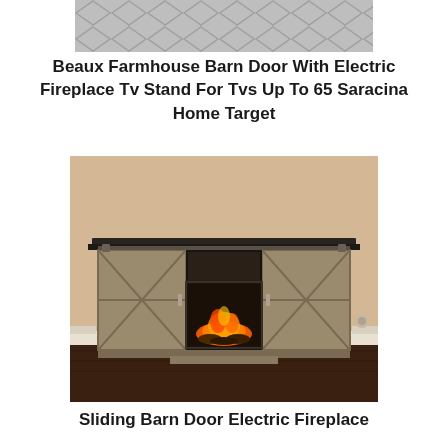[Figure (photo): Top decorative image showing a gray diamond/hexagon pattern fabric or wallpaper texture]
Beaux Farmhouse Barn Door With Electric Fireplace Tv Stand For Tvs Up To 65 Saracina Home Target
[Figure (photo): Photo of a farmhouse barn door electric fireplace TV stand with sliding barn doors on each side, center electric fireplace insert glowing with orange flames, placed against a beige wall on dark hardwood floors]
Sliding Barn Door Electric Fireplace